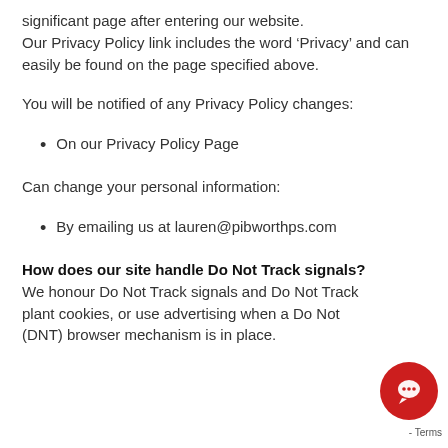significant page after entering our website. Our Privacy Policy link includes the word ‘Privacy’ and can easily be found on the page specified above.
You will be notified of any Privacy Policy changes:
On our Privacy Policy Page
Can change your personal information:
By emailing us at lauren@pibworthps.com
How does our site handle Do Not Track signals?
We honour Do Not Track signals and Do Not Track, plant cookies, or use advertising when a Do Not Track (DNT) browser mechanism is in place.